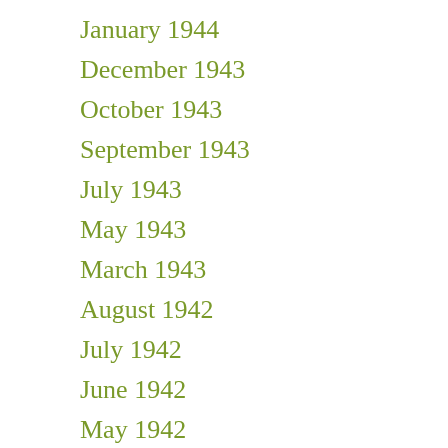January 1944
December 1943
October 1943
September 1943
July 1943
May 1943
March 1943
August 1942
July 1942
June 1942
May 1942
January 1942
December 1941
October 1941
July 1941
June 1941
April 1941